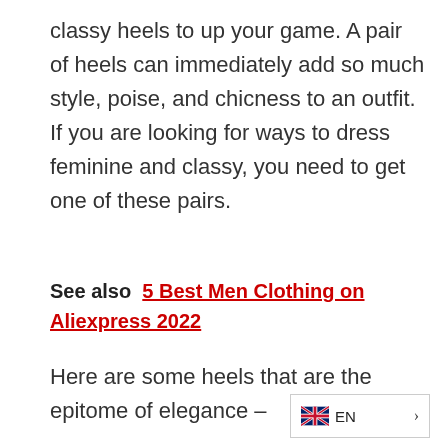classy heels to up your game. A pair of heels can immediately add so much style, poise, and chicness to an outfit. If you are looking for ways to dress feminine and classy, you need to get one of these pairs.
See also  5 Best Men Clothing on Aliexpress 2022
Here are some heels that are the epitome of elegance –